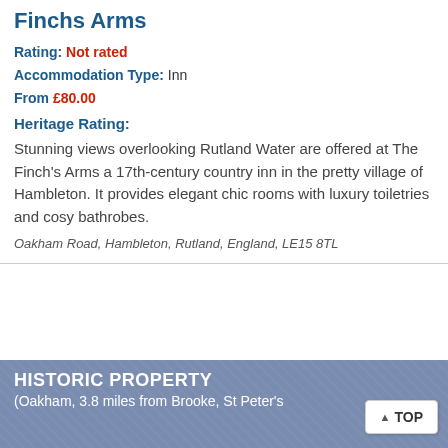Finchs Arms
Rating: Not rated
Accommodation Type: Inn
From £80.00
Heritage Rating:
Stunning views overlooking Rutland Water are offered at The Finch's Arms a 17th-century country inn in the pretty village of Hambleton. It provides elegant chic rooms with luxury toiletries and cosy bathrobes.
Oakham Road, Hambleton, Rutland, England, LE15 8TL
HISTORIC PROPERTY
(Oakham, 3.8 miles from Brooke, St Peter's